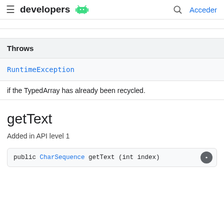developers
| Throws |
| --- |
| RuntimeException |
if the TypedArray has already been recycled.
getText
Added in API level 1
public CharSequence getText (int index)